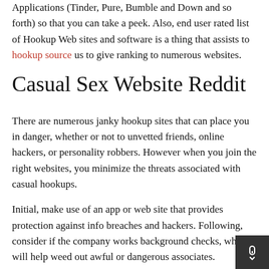Applications (Tinder, Pure, Bumble and Down and so forth) so that you can take a peek. Also, end user rated list of Hookup Web sites and software is a thing that assists to hookup source us to give ranking to numerous websites.
Casual Sex Website Reddit
There are numerous janky hookup sites that can place you in danger, whether or not to unvetted friends, online hackers, or personality robbers. However when you join the right websites, you minimize the threats associated with casual hookups.
Initial, make use of an app or web site that provides protection against info breaches and hackers. Following, consider if the company works background checks, which will help weed out awful or dangerous associates.